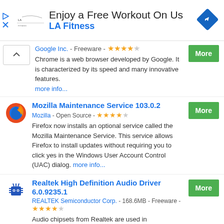[Figure (screenshot): LA Fitness advertisement banner: 'Enjoy a Free Workout On Us' with LA Fitness logo and navigation icon]
Google Inc. - Freeware - ★★★★☆
Chrome is a web browser developed by Google. It is characterized by its speed and many innovative features. more info...
Mozilla Maintenance Service 103.0.2
Mozilla - Open Source - ★★★★☆
Firefox now installs an optional service called the Mozilla Maintenance Service. This service allows Firefox to install updates without requiring you to click yes in the Windows User Account Control (UAC) dialog. more info...
Realtek High Definition Audio Driver 6.0.9235.1
REALTEK Semiconductor Corp. - 168.6MB - Freeware - ★★★★☆
Audio chipsets from Realtek are used in motherboards from many different manufacturers. If you have such a motherboard, you can use the drivers provided by Realtek